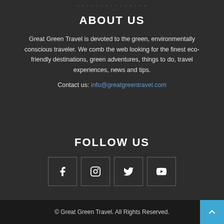ABOUT US
Great Green Travel is devoted to the green, environmentally conscious traveler. We comb the web looking for the finest eco-friendly destinations, green adventures, things to do, travel experiences, news and tips.
Contact us: info@greatgreentravel.com
FOLLOW US
[Figure (infographic): Four social media icon boxes: Facebook, Instagram, Twitter, YouTube]
© Great Green Travel. All Rights Reserved.